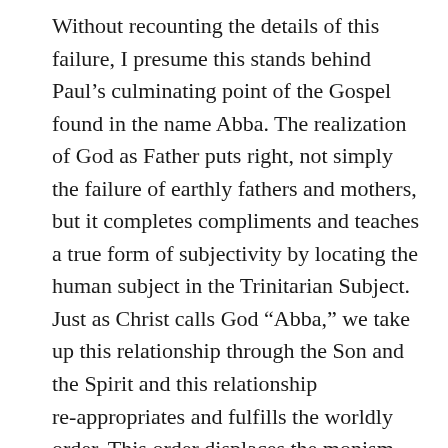Without recounting the details of this failure, I presume this stands behind Paul's culminating point of the Gospel found in the name Abba. The realization of God as Father puts right, not simply the failure of earthly fathers and mothers, but it completes compliments and teaches a true form of subjectivity by locating the human subject in the Trinitarian Subject. Just as Christ calls God “Abba,” we take up this relationship through the Son and the Spirit and this relationship re-appropriates and fulfills the worldly order. This order displaces the monism and pantheism of the world as mother (the law of oneness), and it escapes punishing patriarchy (the binary law of difference). It is in the Trinity, in the place of